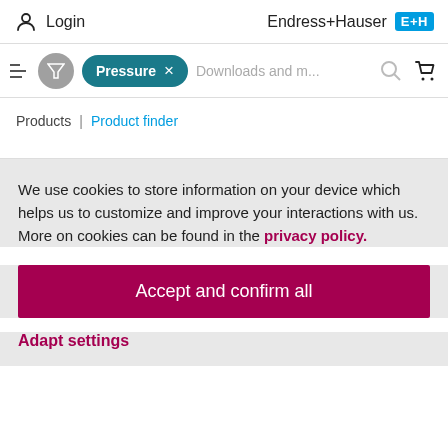Login  Endress+Hauser EH
[Figure (screenshot): Filter bar with funnel icon, 'Pressure X' teal pill filter tag, search placeholder 'Downloads and m...', search icon, and cart icon]
Products | Product finder
We use cookies to store information on your device which helps us to customize and improve your interactions with us. More on cookies can be found in the privacy policy.
Accept and confirm all
Adapt settings